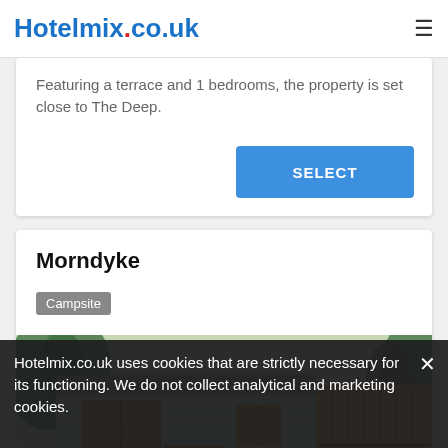Hotelmix.co.uk
Featuring a terrace and 1 bedrooms, the property is set close to The Deep.
SELECT
Morndyke
Campsite
[Figure (photo): Light blue wooden cabin with brown wooden door and windows, wooden fence on the right side, greenery in background]
Hotelmix.co.uk uses cookies that are strictly necessary for its functioning. We do not collect analytical and marketing cookies.